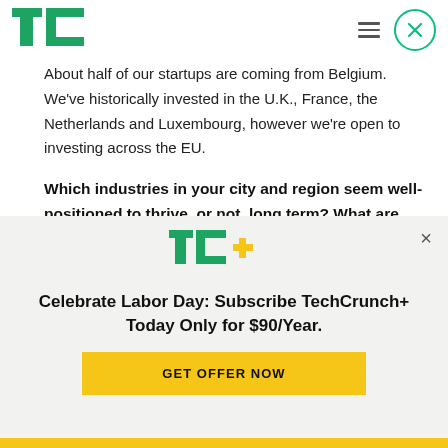[Figure (logo): TechCrunch TC green logo in top left header]
About half of our startups are coming from Belgium. We've historically invested in the U.K., France, the Netherlands and Luxembourg, however we're open to investing across the EU.
Which industries in your city and region seem well-positioned to thrive, or not, long term? What are companies you are excited about
[Figure (logo): TC+ logo in green and gold/yellow, shown in subscription modal overlay]
Celebrate Labor Day: Subscribe TechCrunch+ Today Only for $90/Year.
GET OFFER NOW